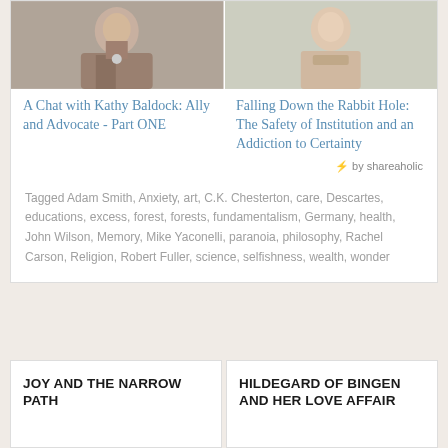[Figure (photo): Photo of a person speaking with a microphone at a conference, wearing a floral top]
[Figure (photo): Photo of a person outdoors wearing a floral/patterned top]
A Chat with Kathy Baldock: Ally and Advocate - Part ONE
Falling Down the Rabbit Hole: The Safety of Institution and an Addiction to Certainty
⚡ by shareaholic
Tagged Adam Smith, Anxiety, art, C.K. Chesterton, care, Descartes, educations, excess, forest, forests, fundamentalism, Germany, health, John Wilson, Memory, Mike Yaconelli, paranoia, philosophy, Rachel Carson, Religion, Robert Fuller, science, selfishness, wealth, wonder
JOY AND THE NARROW PATH
HILDEGARD OF BINGEN AND HER LOVE AFFAIR